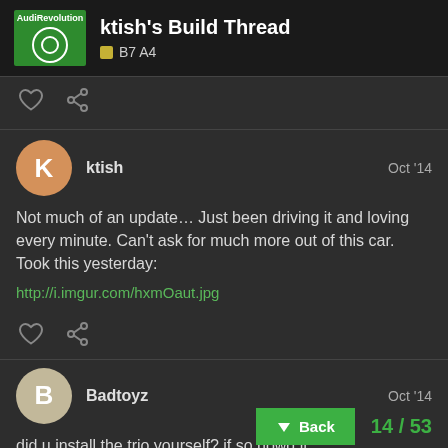ktish's Build Thread — B7 A4
Not much of an update… Just been driving it and loving every minute. Can't ask for much more out of this car. Took this yesterday:
http://i.imgur.com/hxmOaut.jpg
Badtoyz — Oct '14
did u install the trio yourself? if so howd it